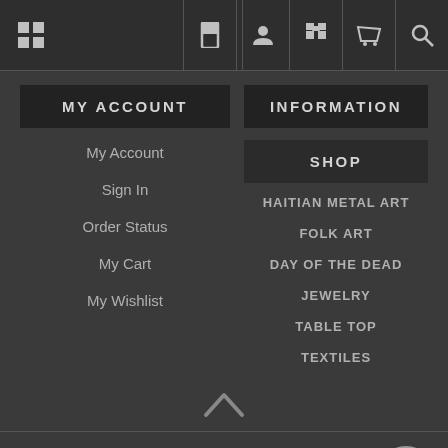Navigation bar with grid icon, bookmark, account, gift, cart, and search icons
MY ACCOUNT
INFORMATION
My Account
Sign In
Order Status
My Cart
My Wishlist
SHOP
HAITIAN METAL ART
FOLK ART
DAY OF THE DEAD
JEWELRY
TABLE TOP
TEXTILES
Copyright 2022 It's Cactus. All Rights Reserved. All prices are in USD | Accessibility